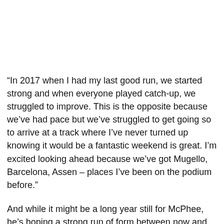“In 2017 when I had my last good run, we started strong and when everyone played catch-up, we struggled to improve. This is the opposite because we’ve had pace but we’ve struggled to get going so to arrive at a track where I’ve never turned up knowing it would be a fantastic weekend is great. I’m excited looking ahead because we’ve got Mugello, Barcelona, Assen – places I’ve been on the podium before.”
And while it might be a long year still for McPhee, he’s hoping a strong run of form between now and the summer break in early July can help him secure his goal – a step up to Moto2 for 2020.
“The timing is perfect. I don’t want to think about the future but it’s only natural that you do. I’m desperate to go to Moto2 next year and